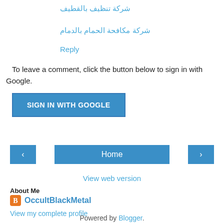شركة تنظيف بالقطيف
شركة مكافحة الحمام بالدمام
Reply
To leave a comment, click the button below to sign in with Google.
[Figure (other): SIGN IN WITH GOOGLE button]
[Figure (other): Navigation bar with left arrow, Home button, and right arrow buttons]
View web version
About Me
OccultBlackMetal
View my complete profile
Powered by Blogger.